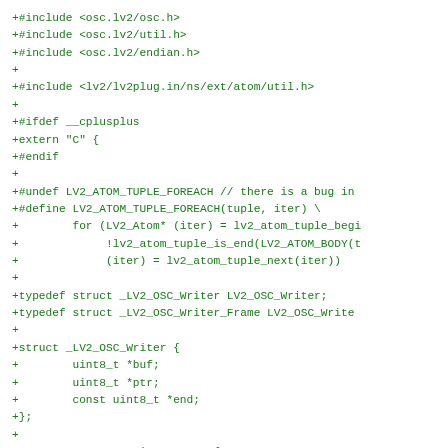+#include <osc.lv2/osc.h>
+#include <osc.lv2/util.h>
+#include <osc.lv2/endian.h>
+
+#include <lv2/lv2plug.in/ns/ext/atom/util.h>
+
+#ifdef __cplusplus
+extern "C" {
+#endif
+
+#undef LV2_ATOM_TUPLE_FOREACH // there is a bug in
+#define LV2_ATOM_TUPLE_FOREACH(tuple, iter) \
+        for (LV2_Atom* (iter) = lv2_atom_tuple_begi
+             !lv2_atom_tuple_is_end(LV2_ATOM_BODY(t
+             (iter) = lv2_atom_tuple_next(iter))
+
+typedef struct _LV2_OSC_Writer LV2_OSC_Writer;
+typedef struct _LV2_OSC_Writer_Frame LV2_OSC_Write
+
+struct _LV2_OSC_Writer {
+        uint8_t *buf;
+        uint8_t *ptr;
+        const uint8_t *end;
+};
+
+struct _LV2_OSC_Writer_Frame {
+        uint8_t *ref;
+};
+
+static inline void